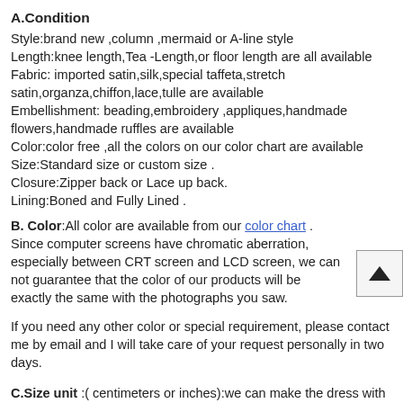A.Condition
Style:brand new ,column ,mermaid or A-line style
Length:knee length,Tea -Length,or floor length are all available
Fabric: imported satin,silk,special taffeta,stretch satin,organza,chiffon,lace,tulle are available
Embellishment: beading,embroidery ,appliques,handmade flowers,handmade ruffles are available
Color:color free ,all the colors on our color chart are available
Size:Standard size or custom size .
Closure:Zipper back or Lace up back.
Lining:Boned and Fully Lined .
B. Color:All color are available from our color chart . Since computer screens have chromatic aberration, especially between CRT screen and LCD screen, we can not guarantee that the color of our products will be exactly the same with the photographs you saw.
If you need any other color or special requirement, please contact me by email and I will take care of your request personally in two days.
C.Size unit :(centimeters or inches):we can make the dress with standard size and custom order,if you need custom sizes,please measure below measurements: